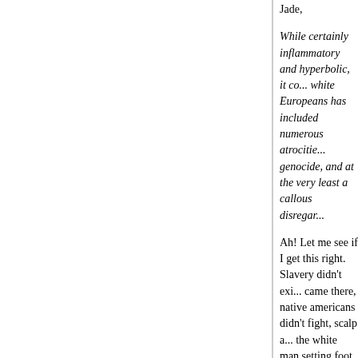Jade,
While certainly inflammatory and hyperbolic, it co... white Europeans has included numerous atrocitie... genocide, and at the very least a callous disregar...
Ah! Let me see if I get this right. Slavery didn't exi... came there, native americans didn't fight, scalp a... the white man setting foot in America, genocide is... phenomenon, etc,etc, etc..
And it's absurdly easy to take the Beavis and Butt... political foes and pretend Sontag merely called th... context.
I see. So, if I call all blacks criminals and then use... (cause context is everything, you see), you'll com... somebody calls me a racist.
Posted by: Stan LS | December 30, 2004 at 10:47 AM
Edward,
Why she was first mistaken about Cuba, for exam... consider the regime Castro replaced and the fact... against Communism in unacceptable ways.